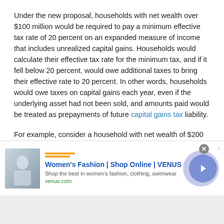Under the new proposal, households with net wealth over $100 million would be required to pay a minimum effective tax rate of 20 percent on an expanded measure of income that includes unrealized capital gains. Households would calculate their effective tax rate for the minimum tax, and if it fell below 20 percent, would owe additional taxes to bring their effective rate to 20 percent. In other words, households would owe taxes on capital gains each year, even if the underlying asset had not been sold, and amounts paid would be treated as prepayments of future capital gains tax liability.
For example, consider a household with net wealth of $200 million, $5 million in ordinary income, $10 million in accumulated unrealized capital gains from a privately held company, and an ordinary tax liability of $1.8 million in 2023 (see accompanying
[Figure (other): Advertisement banner: Women's Fashion | Shop Online | VENUS. Shows a fashion model image thumbnail, ad title in blue bold text, description 'Shop the best in women's fashion, clothing, swimwear', URL 'venus.com' in green. Has a close button (X) and an external link indicator, with a purple/blue circle chevron button on the right.]